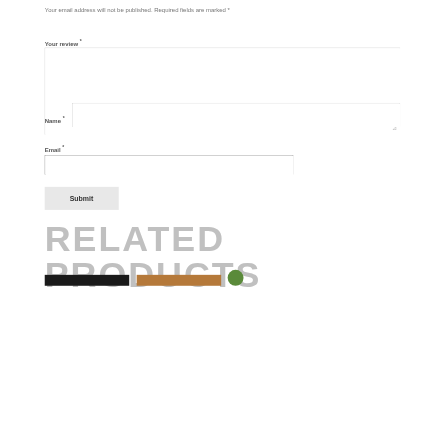Your email address will not be published. Required fields are marked *
Your review *
[Figure (screenshot): Large empty textarea for review input with resize handle in bottom-right corner]
Name *
[Figure (screenshot): Single-line text input field for Name]
Email *
[Figure (screenshot): Single-line text input field for Email]
Submit
RELATED PRODUCTS
[Figure (other): Bottom strip showing two product image thumbnails (dark and orange/brown) and a green circle, partially cropped at bottom of page]